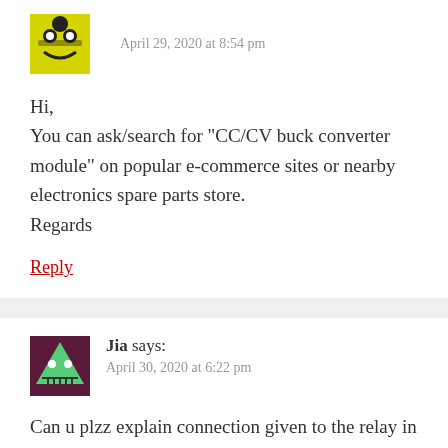April 29, 2020 at 8:54 pm
Hi,
You can ask/search for “CC/CV buck converter module” on popular e-commerce sites or nearby electronics spare parts store.
Regards
Reply
Jia says:
April 30, 2020 at 6:22 pm
Can u plzz explain connection given to the relay in circuit diagram?
Reply